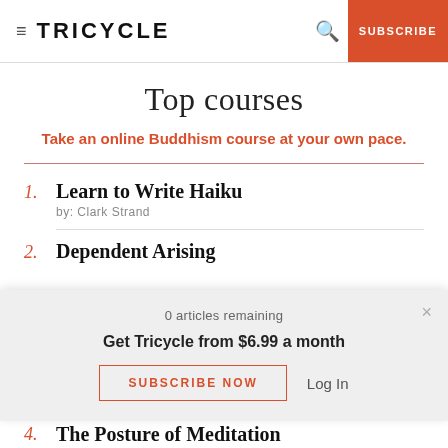TRICYCLE | SUBSCRIBE
Top courses
Take an online Buddhism course at your own pace.
1. Learn to Write Haiku by: Clark Strand
2. Dependent Arising
0 articles remaining
Get Tricycle from $6.99 a month
SUBSCRIBE NOW  Log In
4. The Posture of Meditation